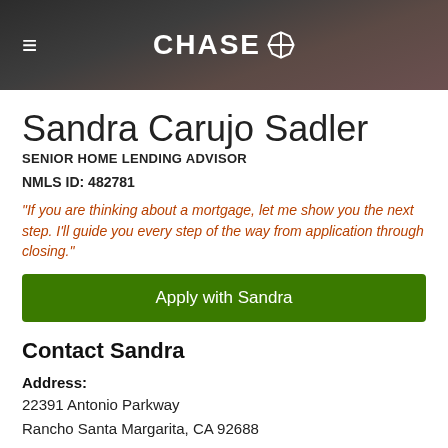[Figure (logo): Chase bank header with hamburger menu icon on left, CHASE logo with octagon icon in center, on dark background]
Sandra Carujo Sadler
SENIOR HOME LENDING ADVISOR
NMLS ID: 482781
"If you are thinking about a mortgage, let me show you the next step. I'll guide you every step of the way from application through closing."
Apply with Sandra
Contact Sandra
Address:
22391 Antonio Parkway
Rancho Santa Margarita, CA 92688